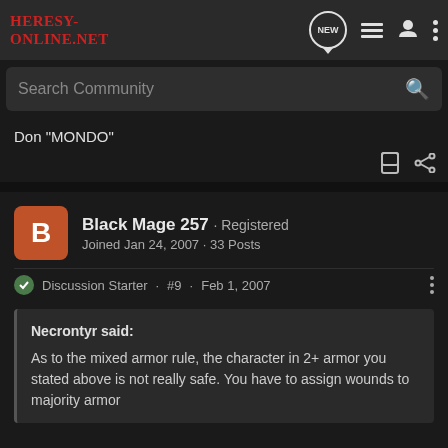Heresy-Online.net
Search Community
Don "MONDO"
Black Mage 257 · Registered
Joined Jan 24, 2007 · 33 Posts
Discussion Starter · #9 · Feb 1, 2007
Necrontyr said:
As to the mixed armor rule, the character in 2+ armor you stated above is not really safe. You have to assign wounds to majority armor